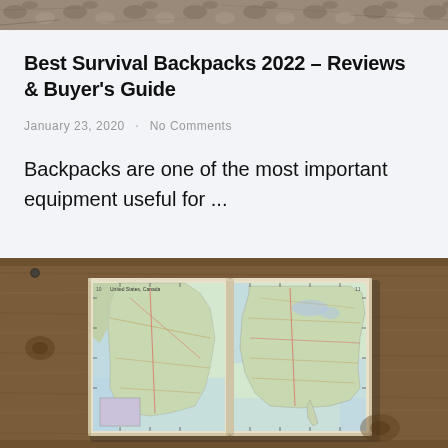[Figure (photo): Top strip of a photo showing rocky/stone surface texture]
Best Survival Backpacks 2022 – Reviews & Buyer's Guide
January 23, 2020 · No Comments
Backpacks are one of the most important equipment useful for ...
[Figure (photo): Open pocket atlas/notebook showing maps of United States and Canada lying on a wooden surface]